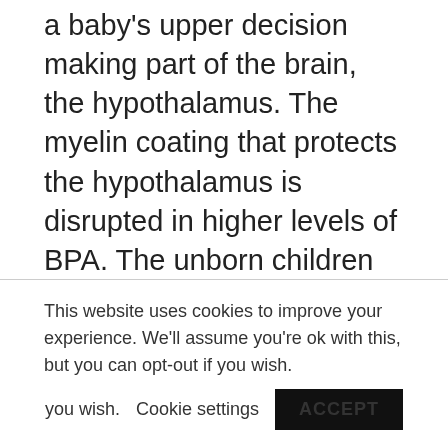a baby's upper decision making part of the brain, the hypothalamus. The myelin coating that protects the hypothalamus is disrupted in higher levels of BPA. The unborn children are not able to build a strong brain because the hypothalamus does not have the protection and can't function the way it's supposed to.
The jury is still out on whether or not
This website uses cookies to improve your experience. We'll assume you're ok with this, but you can opt-out if you wish. Cookie settings ACCEPT